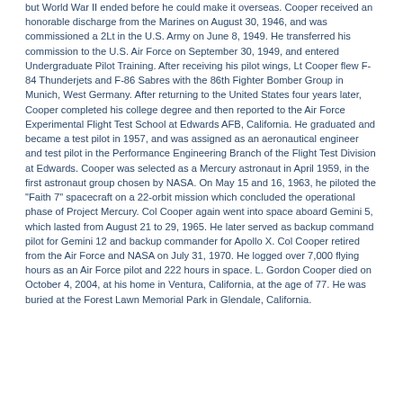but World War II ended before he could make it overseas. Cooper received an honorable discharge from the Marines on August 30, 1946, and was commissioned a 2Lt in the U.S. Army on June 8, 1949. He transferred his commission to the U.S. Air Force on September 30, 1949, and entered Undergraduate Pilot Training. After receiving his pilot wings, Lt Cooper flew F-84 Thunderjets and F-86 Sabres with the 86th Fighter Bomber Group in Munich, West Germany. After returning to the United States four years later, Cooper completed his college degree and then reported to the Air Force Experimental Flight Test School at Edwards AFB, California. He graduated and became a test pilot in 1957, and was assigned as an aeronautical engineer and test pilot in the Performance Engineering Branch of the Flight Test Division at Edwards. Cooper was selected as a Mercury astronaut in April 1959, in the first astronaut group chosen by NASA. On May 15 and 16, 1963, he piloted the "Faith 7" spacecraft on a 22-orbit mission which concluded the operational phase of Project Mercury. Col Cooper again went into space aboard Gemini 5, which lasted from August 21 to 29, 1965. He later served as backup command pilot for Gemini 12 and backup commander for Apollo X. Col Cooper retired from the Air Force and NASA on July 31, 1970. He logged over 7,000 flying hours as an Air Force pilot and 222 hours in space. L. Gordon Cooper died on October 4, 2004, at his home in Ventura, California, at the age of 77. He was buried at the Forest Lawn Memorial Park in Glendale, California.